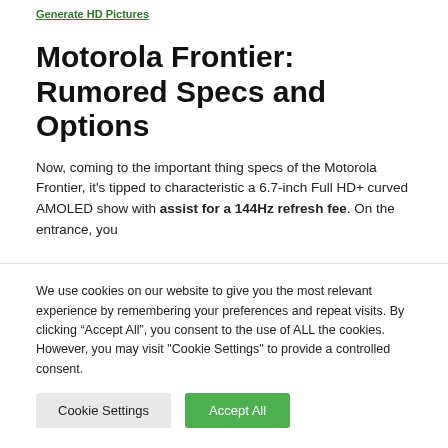Generate HD Pictures
Motorola Frontier: Rumored Specs and Options
Now, coming to the important thing specs of the Motorola Frontier, it's tipped to characteristic a 6.7-inch Full HD+ curved AMOLED show with assist for a 144Hz refresh fee. On the entrance, you
We use cookies on our website to give you the most relevant experience by remembering your preferences and repeat visits. By clicking “Accept All”, you consent to the use of ALL the cookies. However, you may visit "Cookie Settings" to provide a controlled consent.